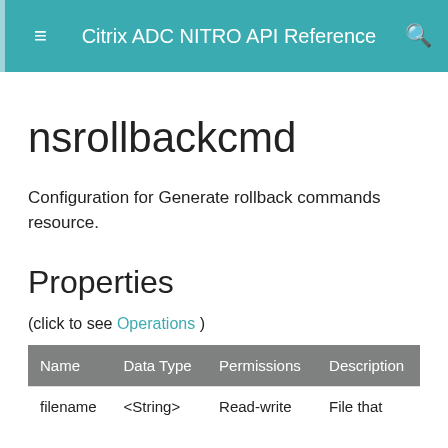Citrix ADC NITRO API Reference
nsrollbackcmd
Configuration for Generate rollback commands resource.
Properties
(click to see Operations )
| Name | Data Type | Permissions | Description |
| --- | --- | --- | --- |
| filename | <String> | Read-write | File that |